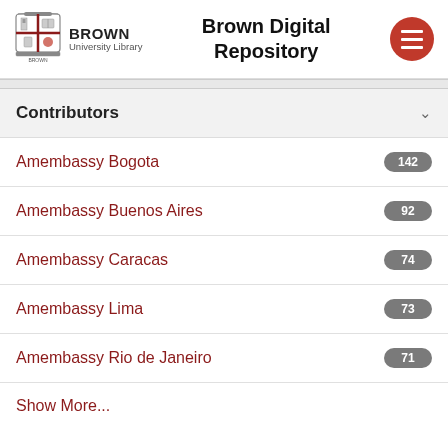Brown University Library — Brown Digital Repository
Contributors
Amembassy Bogota  142
Amembassy Buenos Aires  92
Amembassy Caracas  74
Amembassy Lima  73
Amembassy Rio de Janeiro  71
Show More...